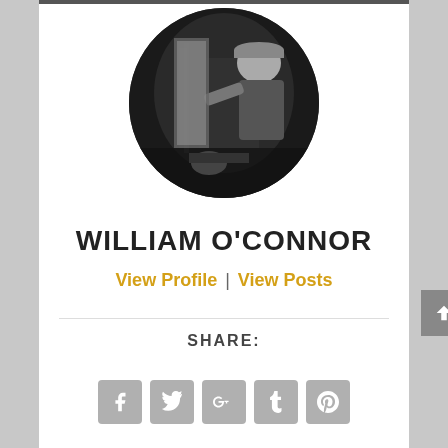[Figure (photo): Circular black and white profile photo of William O'Connor, an artist painting on a canvas, wearing a baseball cap]
WILLIAM O'CONNOR
View Profile | View Posts
SHARE:
[Figure (infographic): Row of social media share buttons: Facebook, Twitter, Google+, Tumblr, Pinterest]